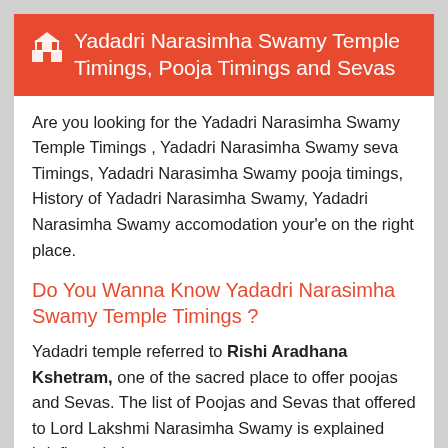🏛 Yadadri Narasimha Swamy Temple Timings, Pooja Timings and Sevas
Are you looking for the Yadadri Narasimha Swamy Temple Timings , Yadadri Narasimha Swamy seva Timings, Yadadri Narasimha Swamy pooja timings, History of Yadadri Narasimha Swamy, Yadadri Narasimha Swamy accomodation your'e on the right place.
Do You Wanna Know Yadadri Narasimha Swamy Temple Timings ?
Yadadri temple referred to Rishi Aradhana Kshetram, one of the sacred place to offer poojas and Sevas. The list of Poojas and Sevas that offered to Lord Lakshmi Narasimha Swamy is explained briefly as below
Yadadri Narasimha Swamy Temple Timings